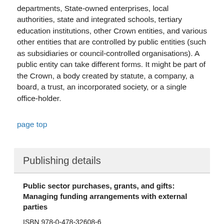Audit Act 2001. It includes, for example, government departments, State-owned enterprises, local authorities, state and integrated schools, tertiary education institutions, other Crown entities, and various other entities that are controlled by public entities (such as subsidiaries or council-controlled organisations). A public entity can take different forms. It might be part of the Crown, a body created by statute, a company, a board, a trust, an incorporated society, or a single office-holder.
page top
Publishing details
Public sector purchases, grants, and gifts: Managing funding arrangements with external parties
ISBN 978-0-478-32608-6